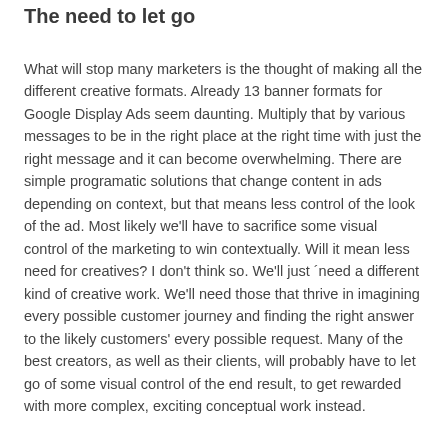The need to let go
What will stop many marketers is the thought of making all the different creative formats. Already 13 banner formats for Google Display Ads seem daunting. Multiply that by various messages to be in the right place at the right time with just the right message and it can become overwhelming. There are simple programatic solutions that change content in ads depending on context, but that means less control of the look of the ad. Most likely we'll have to sacrifice some visual control of the marketing to win contextually. Will it mean less need for creatives? I don't think so. We'll just ´need a different kind of creative work. We'll need those that thrive in imagining every possible customer journey and finding the right answer to the likely customers' every possible request. Many of the best creators, as well as their clients, will probably have to let go of some visual control of the end result, to get rewarded with more complex, exciting conceptual work instead.